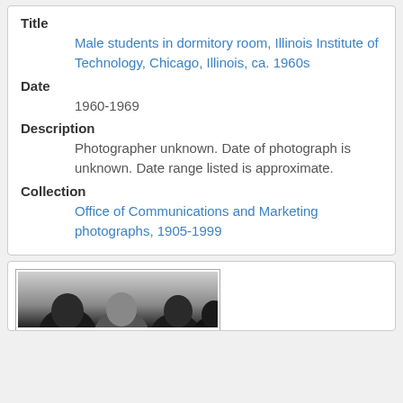Title
Male students in dormitory room, Illinois Institute of Technology, Chicago, Illinois, ca. 1960s
Date
1960-1969
Description
Photographer unknown. Date of photograph is unknown. Date range listed is approximate.
Collection
Office of Communications and Marketing photographs, 1905-1999
[Figure (photo): Black and white photograph showing heads of students, partially visible at bottom of page]